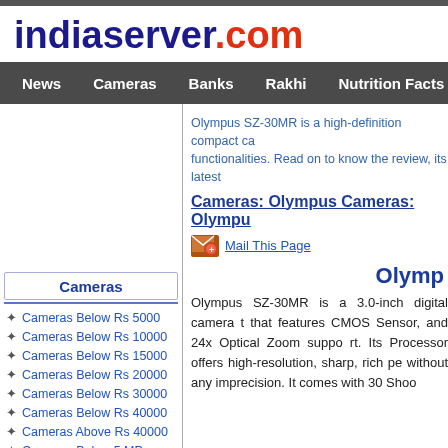[Figure (logo): indiaserver.com logo with 'indiaserver' in dark blue bold and '.com' in red bold]
News | Cameras | Banks | Rakhi | Nutrition Facts | Trains Enquiry
Olympus SZ-30MR is a high-definition compact camera with plenty of functionalities. Read on to know the review, its latest
Cameras: Olympus Cameras: Olympu
Cameras
Cameras Below Rs 5000
Cameras Below Rs 10000
Cameras Below Rs 15000
Cameras Below Rs 20000
Cameras Below Rs 30000
Cameras Below Rs 40000
Cameras Above Rs 40000
Cameras Below 5 MP
Cameras Between 5-10 MP
Mail This Page
Olymp
Olympus SZ-30MR is a 3.0-inch digital camera that features CMOS Sensor, and 24x Optical Zoom support. Its TruePic Processor offers high-resolution, sharp, rich performance without any imprecision. It comes with 30 Sho